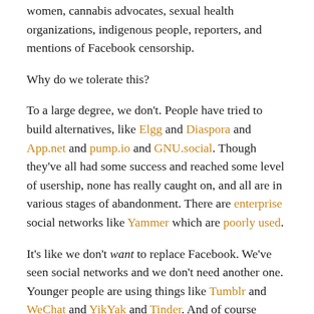women, cannabis advocates, sexual health organizations, indigenous people, reporters, and mentions of Facebook censorship.
Why do we tolerate this?
To a large degree, we don't. People have tried to build alternatives, like Elgg and Diaspora and App.net and pump.io and GNU.social. Though they've all had some success and reached some level of usership, none has really caught on, and all are in various stages of abandonment. There are enterprise social networks like Yammer which are poorly used.
It's like we don't want to replace Facebook. We've seen social networks and we don't need another one. Younger people are using things like Tumblr and WeChat and YikYak and Tinder. And of course Pokemon Go. And Instagram and Snapchat. None of these is perfect, but